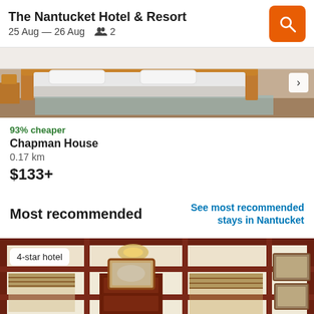The Nantucket Hotel & Resort
25 Aug – 26 Aug   👥 2
[Figure (photo): Hotel room interior showing a bed with white linens and wooden bed frame]
93% cheaper
Chapman House
0.17 km
$133+
Most recommended
See most recommended stays in Nantucket
[Figure (photo): Elegant hotel room interior with dark wood paneling, coffered ceiling, chandelier, roman shades, and framed artwork. Badge reads 4-star hotel.]